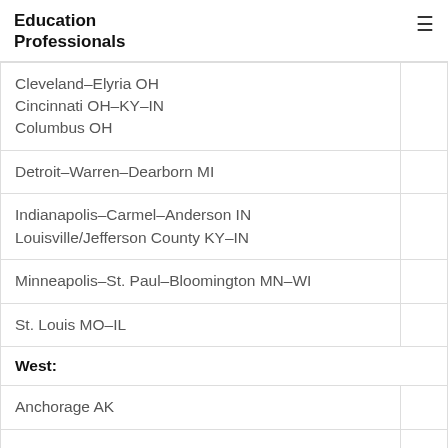Education Professionals
| Cleveland–Elyria OH
Cincinnati OH–KY–IN
Columbus OH |  |
| Detroit–Warren–Dearborn MI |  |
| Indianapolis–Carmel–Anderson IN
Louisville/Jefferson County KY–IN |  |
| Minneapolis–St. Paul–Bloomington MN–WI |  |
| St. Louis MO–IL |  |
| West: |  |
| Anchorage AK |  |
|  |  |